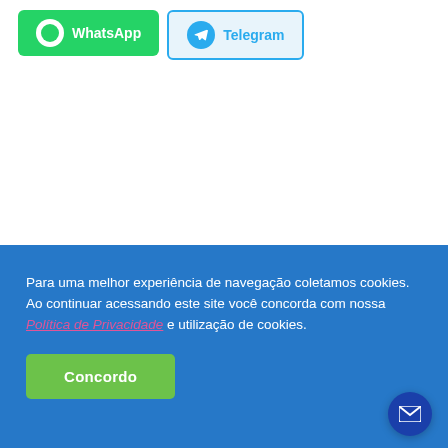[Figure (other): WhatsApp button with green background and white WhatsApp icon, labeled WhatsApp]
[Figure (other): Telegram button with light blue background and Telegram icon, labeled Telegram]
Para uma melhor experiência de navegação coletamos cookies. Ao continuar acessando este site você concorda com nossa Política de Privacidade e utilização de cookies.
Concordo